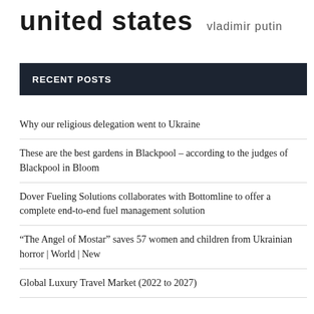united states  vladimir putin
RECENT POSTS
Why our religious delegation went to Ukraine
These are the best gardens in Blackpool – according to the judges of Blackpool in Bloom
Dover Fueling Solutions collaborates with Bottomline to offer a complete end-to-end fuel management solution
“The Angel of Mostar” saves 57 women and children from Ukrainian horror | World | New
Global Luxury Travel Market (2022 to 2027)